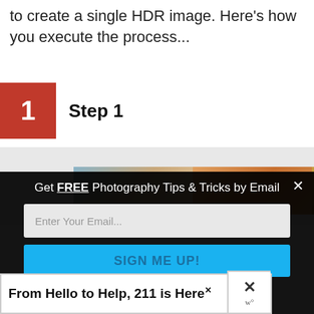to create a single HDR image. Here's how you execute the process...
1 Step 1
[Figure (photo): Three side-by-side landscape photos showing sky and terrain at varying exposures for HDR photography]
[Figure (screenshot): Email signup modal overlay with black background: 'Get FREE Photography Tips & Tricks by Email', email input field, and 'SIGN ME UP!' button]
From Hello to Help, 211 is Here